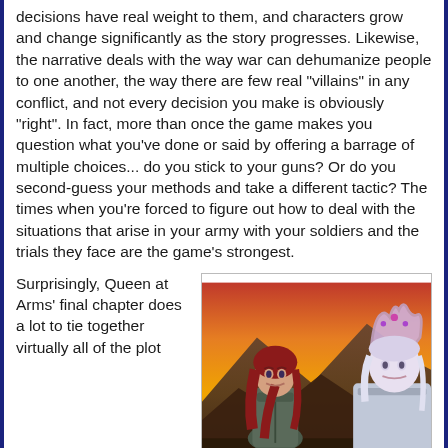decisions have real weight to them, and characters grow and change significantly as the story progresses. Likewise, the narrative deals with the way war can dehumanize people to one another, the way there are few real "villains" in any conflict, and not every decision you make is obviously "right". In fact, more than once the game makes you question what you've done or said by offering a barrage of multiple choices... do you stick to your guns? Or do you second-guess your methods and take a different tactic? The times when you're forced to figure out how to deal with the situations that arise in your army with your soldiers and the trials they face are the game's strongest.
Surprisingly, Queen at Arms' final chapter does a lot to tie together virtually all of the plot
[Figure (illustration): Illustrated scene showing two fantasy characters against an orange/red sunset sky with mountain silhouettes. Left character: woman with long red hair wearing grey-green armor. Right character: pale figure with an ornate horned/winged crown.]